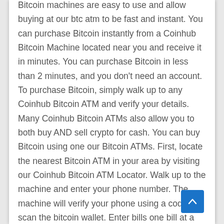Bitcoin machines are easy to use and allow buying at our btc atm to be fast and instant. You can purchase Bitcoin instantly from a Coinhub Bitcoin Machine located near you and receive it in minutes. You can purchase Bitcoin in less than 2 minutes, and you don't need an account. To purchase Bitcoin, simply walk up to any Coinhub Bitcoin ATM and verify your details. Many Coinhub Bitcoin ATMs also allow you to both buy AND sell crypto for cash. You can buy Bitcoin using one our Bitcoin ATMs. First, locate the nearest Bitcoin ATM in your area by visiting our Coinhub Bitcoin ATM Locator. Walk up to the machine and enter your phone number. The machine will verify your phone using a code and scan the bitcoin wallet. Enter bills one bill at a time for the amount you would like to purchase and confirm the bitcoin atm prior to purchase. The bitcoin is instantly sent to your wallet. The daily buying limit is $25,000. There are Bitcoin